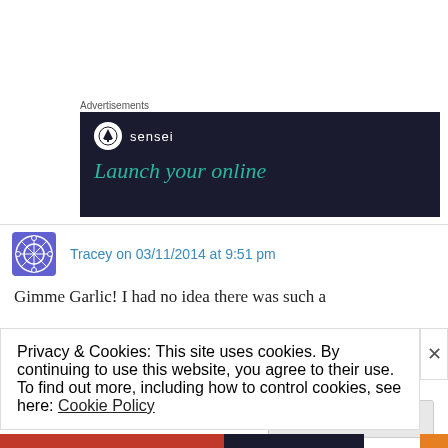Advertisements
[Figure (screenshot): Advertisement banner for Sensei plugin with dark navy background, Sensei logo (tree icon in white circle), and teal italic text reading 'Launch your online']
Tracey on 03/11/2014 at 9:51 pm
Gimme Garlic! I had no idea there was such a
Privacy & Cookies: This site uses cookies. By continuing to use this website, you agree to their use.
To find out more, including how to control cookies, see here: Cookie Policy
Close and accept